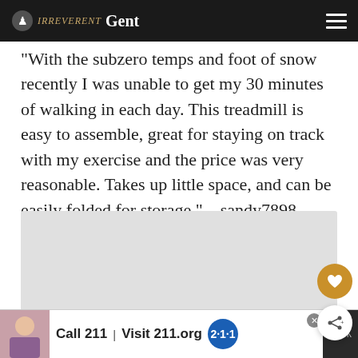Irreverent Gent
“With the subzero temps and foot of snow recently I was unable to get my 30 minutes of walking in each day. This treadmill is easy to assemble, great for staying on track with my exercise and the price was very reasonable. Takes up little space, and can be easily folded for storage.” – sandy7898
[Figure (photo): Gray image placeholder with dot carousel indicators and floating action buttons (heart and share)]
[Figure (screenshot): Advertisement bar: woman on phone, 'Call 211 | Visit 211.org' with 211 logo, close button, and weather widget]